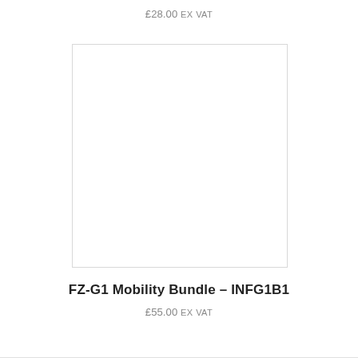£28.00 Ex VAT
[Figure (photo): Product image placeholder, white box with light gray border]
FZ-G1 Mobility Bundle – INFG1B1
£55.00 Ex VAT